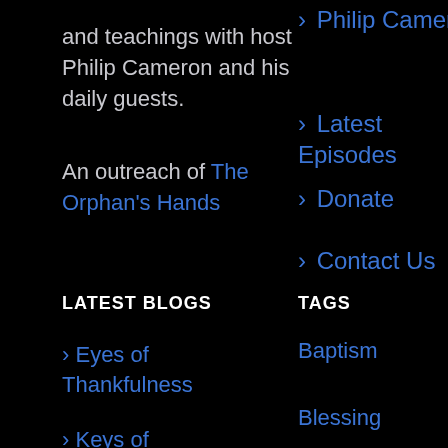and teachings with host Philip Cameron and his daily guests.
An outreach of The Orphan's Hands
> Philip Cameron
> Latest Episodes
> Donate
> Contact Us
LATEST BLOGS
TAGS
> Eyes of Thankfulness
> Keys of
Baptism
Blessing